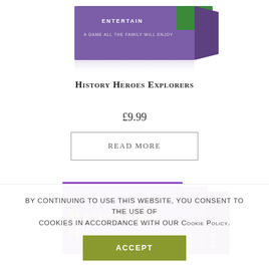[Figure (photo): Top portion of a purple and green cardboard game box, partially visible, showing text 'ENTERTAIN' and a tagline on the front face, with a reflection below on white surface.]
History Heroes Explorers
£9.99
Read more
[Figure (photo): A purple cardboard box with orange lettering spelling 'HISTORY' on the front and 'SPACE' text visible on the side panels, partially cropped.]
By continuing to use this website, you consent to the use of cookies in accordance with our Cookie Policy.
Accept